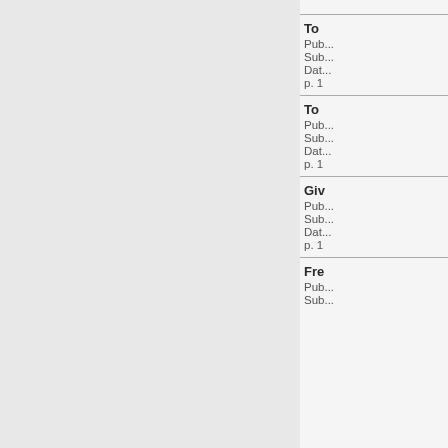To ...
Pub...
Sub...
Dat...
p. 1...
To ...
Pub...
Sub...
Dat...
p. 1...
Giv...
Pub...
Sub...
Dat...
p. 1...
Fre...
Pub...
Sub...